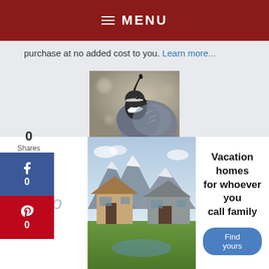MENU
purchase at no added cost to you. Learn more...
[Figure (photo): Close-up photo of a California quail bird with black plume on head and grey feathers, against a blurred grey/brown background. Social share buttons (Facebook: 0, Pinterest: 0) overlaid on the left side showing 0 Shares.]
[Figure (photo): Advertisement banner for Vrbo vacation rental service showing a mountain lodge house. Text reads: Vacation homes for whoever you call family. Button: Find yours.]